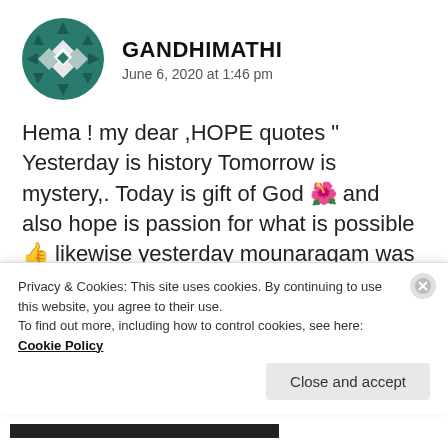[Figure (logo): Teal/dark geometric avatar icon with diamond and arrow pattern in a circle]
GANDHIMATHI
June 6, 2020 at 1:46 pm
Hema ! my dear ,HOPE quotes " Yesterday is history Tomorrow is mystery,. Today is gift of God 🌺 and also hope is passion for what is possible👍 likewise yesterday mounaragam was directed by Maniratnam,today vinnaithaandi varuvaya directed by Gautam menon and tomorrow my girl Hema would be director of?? 🧡👍Hope my child rock with
Privacy & Cookies: This site uses cookies. By continuing to use this website, you agree to their use.
To find out more, including how to control cookies, see here: Cookie Policy
Close and accept